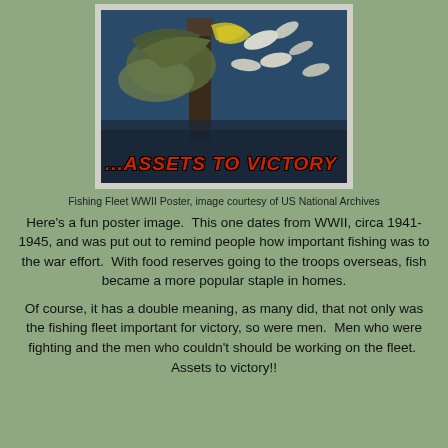[Figure (photo): WWII Fishing Fleet propaganda poster showing fish and marine imagery with bold red italic text reading '...ASSETS TO VICTORY' at the bottom]
Fishing Fleet WWII Poster, image courtesy of US National Archives
Here's a fun poster image.  This one dates from WWII, circa 1941-1945, and was put out to remind people how important fishing was to the war effort.  With food reserves going to the troops overseas, fish became a more popular staple in homes.
Of course, it has a double meaning, as many did, that not only was the fishing fleet important for victory, so were men.  Men who were fighting and the men who couldn't should be working on the fleet.  Assets to victory!!